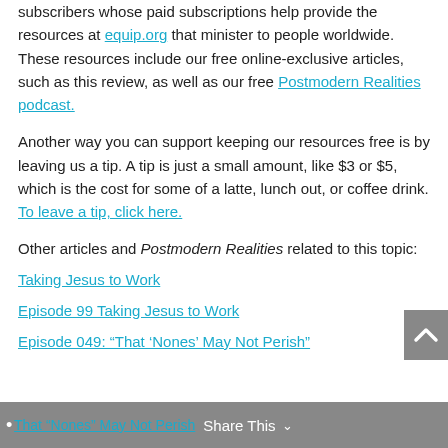subscribers whose paid subscriptions help provide the resources at equip.org that minister to people worldwide. These resources include our free online-exclusive articles, such as this review, as well as our free Postmodern Realities podcast.
Another way you can support keeping our resources free is by leaving us a tip. A tip is just a small amount, like $3 or $5, which is the cost for some of a latte, lunch out, or coffee drink. To leave a tip, click here.
Other articles and Postmodern Realities related to this topic:
Taking Jesus to Work
Episode 99 Taking Jesus to Work
Episode 049: “That ‘Nones’ May Not Perish”
That “Nones” May Not Perish   Share This